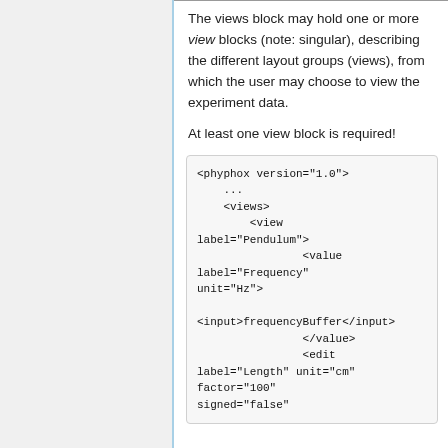The views block may hold one or more view blocks (note: singular), describing the different layout groups (views), from which the user may choose to view the experiment data.
At least one view block is required!
<phyphox version="1.0">
    ...
    <views>
        <view label="Pendulum">
                <value label="Frequency" unit="Hz">

<input>frequencyBuffer</input>
                </value>
                <edit label="Length" unit="cm" factor="100" signed="false"